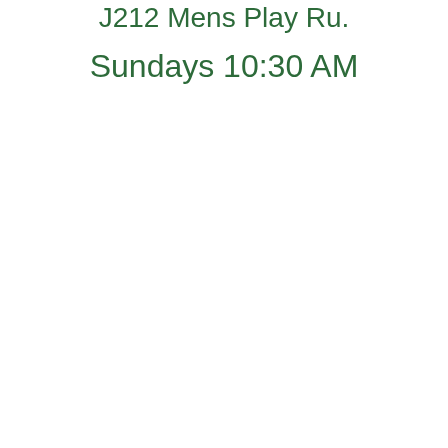J212 Mens Play Ru.
Sundays 10:30 AM